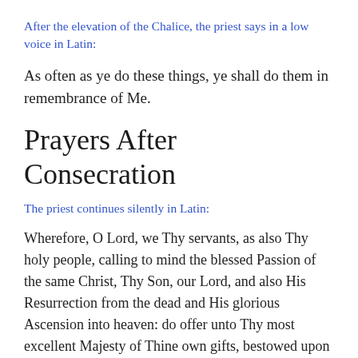After the elevation of the Chalice, the priest says in a low voice in Latin:
As often as ye do these things, ye shall do them in remembrance of Me.
Prayers After Consecration
The priest continues silently in Latin:
Wherefore, O Lord, we Thy servants, as also Thy holy people, calling to mind the blessed Passion of the same Christ, Thy Son, our Lord, and also His Resurrection from the dead and His glorious Ascension into heaven: do offer unto Thy most excellent Majesty of Thine own gifts, bestowed upon us, a pure ✝ Victim, a holy ✝ Victim, an unspotted ✝ Victim, the holy ✝ Bread of